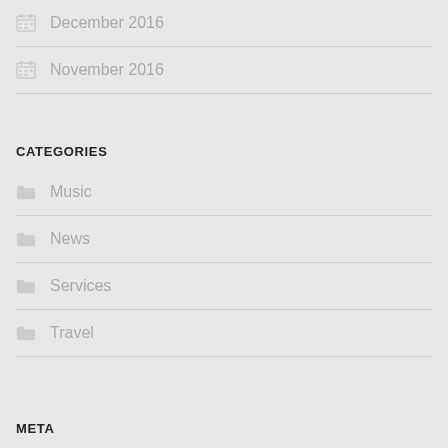December 2016
November 2016
CATEGORIES
Music
News
Services
Travel
META